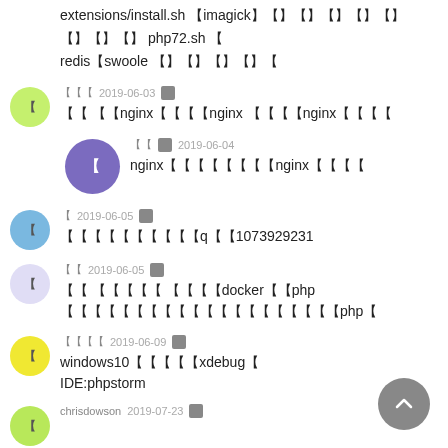extensions/install.sh 〔imagick〕〔〕〔〕〔〕〔〕〔〕〔〕〔〕〔〕 php72.sh 〔 redis〔swoole 〔〕〔〕〔〕〔〕〔
〔〔〔 2019-06-03 — 〔〔 〔〔nginx〔〔〔〔nginx 〔〔〔〔nginx〔〔〔〔
〔〔 〔〔 2019-06-04 nginx〔〔〔〔〔〔〔〔nginx〔〔〔〔
〔 2019-06-05 — 〔〔〔〔〔〔〔〔〔〔q〔〔1073929231
〔〔 2019-06-05 — 〔〔 〔〔〔〔〔 〔〔〔〔docker〔〔php〔〔〔〔〔〔〔〔〔〔〔〔〔〔〔〔〔〔〔〔php〔
〔〔〔〔 2019-06-09 — windows10〔〔〔〔〔xdebug〔 IDE:phpstorm
chrisdowson 2019-07-23